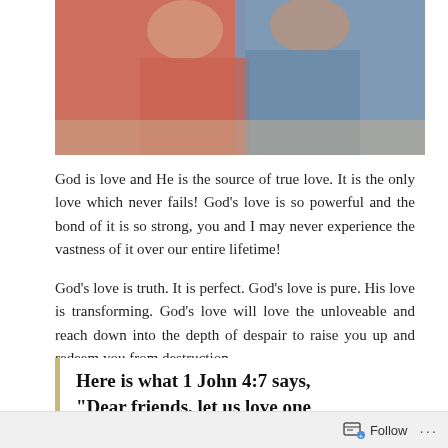[Figure (photo): Cropped photo of a couple sitting together, one wearing a pink/red shirt and one wearing a blue denim shirt]
God is love and He is the source of true love. It is the only love which never fails! God’s love is so powerful and the bond of it is so strong, you and I may never experience the vastness of it over our entire lifetime!
God’s love is truth. It is perfect. God’s love is pure. His love is transforming. God’s love will love the unloveable and reach down into the depth of despair to raise you up and redeem you from destruction.
Here is what 1 John 4:7 says, “Dear friends, let us love one another…”
Follow ...